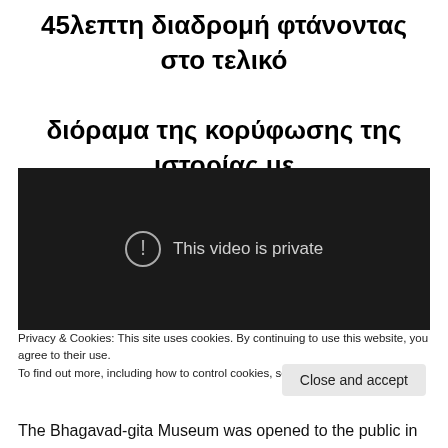45λεπτη διαδρομή φτάνοντας στο τελικό διόραμα της κορύφωσης της ιστορίας με μελωδίες και χορούς!
[Figure (screenshot): Embedded video player showing 'This video is private' message on dark background]
Privacy & Cookies: This site uses cookies. By continuing to use this website, you agree to their use.
To find out more, including how to control cookies, see here: Cookie Policy
Close and accept
The Bhagavad-gita Museum was opened to the public in